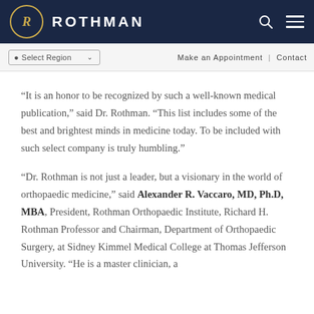ROTHMAN
“It is an honor to be recognized by such a well-known medical publication,” said Dr. Rothman. “This list includes some of the best and brightest minds in medicine today. To be included with such select company is truly humbling.”
“Dr. Rothman is not just a leader, but a visionary in the world of orthopaedic medicine,” said Alexander R. Vaccaro, MD, Ph.D, MBA, President, Rothman Orthopaedic Institute, Richard H. Rothman Professor and Chairman, Department of Orthopaedic Surgery, at Sidney Kimmel Medical College at Thomas Jefferson University. “He is a master clinician, a